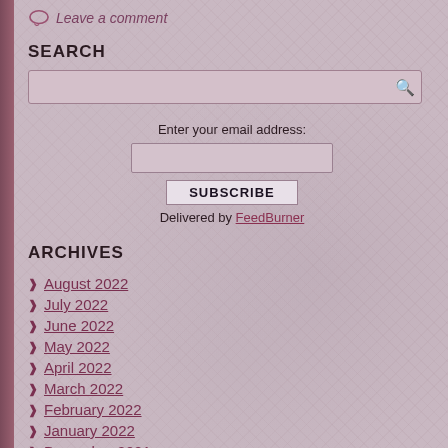Leave a comment
SEARCH
[Figure (other): Search input box with magnifying glass icon]
Enter your email address:
[Figure (other): Email input field, SUBSCRIBE button, Delivered by FeedBurner link]
ARCHIVES
August 2022
July 2022
June 2022
May 2022
April 2022
March 2022
February 2022
January 2022
December 2021